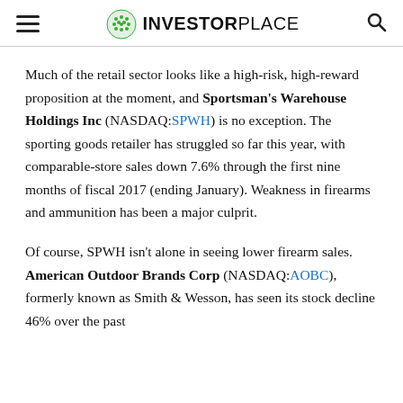INVESTORPLACE
Much of the retail sector looks like a high-risk, high-reward proposition at the moment, and Sportsman's Warehouse Holdings Inc (NASDAQ:SPWH) is no exception. The sporting goods retailer has struggled so far this year, with comparable-store sales down 7.6% through the first nine months of fiscal 2017 (ending January). Weakness in firearms and ammunition has been a major culprit.
Of course, SPWH isn't alone in seeing lower firearm sales. American Outdoor Brands Corp (NASDAQ:AOBC), formerly known as Smith & Wesson, has seen its stock decline 46% over the past